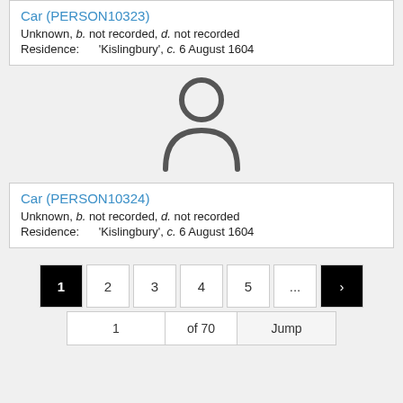Car (PERSON10323)
Unknown, b. not recorded, d. not recorded
Residence: 'Kislingbury', c. 6 August 1604
[Figure (illustration): Generic person silhouette / avatar icon in dark gray]
Car (PERSON10324)
Unknown, b. not recorded, d. not recorded
Residence: 'Kislingbury', c. 6 August 1604
Pagination: 1 (active), 2, 3, 4, 5, ..., > (next). Jump row: 1 of 70 Jump